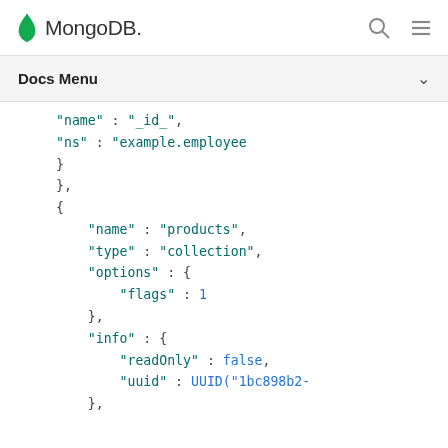MongoDB
Docs Menu
"name" : "_id_",
"ns" : "example.employee"
}
},
{
    "name" : "products",
    "type" : "collection",
    "options" : {
        "flags" : 1
    },
    "info" : {
        "readOnly" : false,
        "uuid" : UUID("1bc898b2-
    },